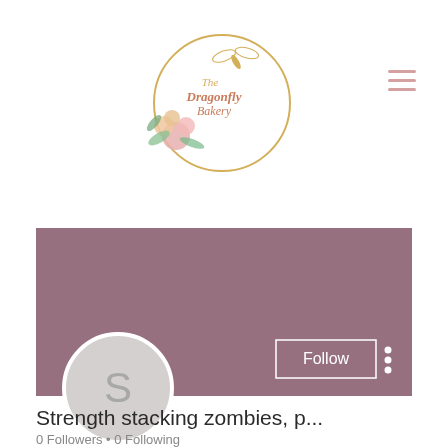[Figure (logo): The Dragonfly Bakery circular logo with floral decoration and gold border]
[Figure (screenshot): Social media profile page screenshot showing mauve/dusty rose banner with Follow button and three-dot menu, circular avatar with letter S, username 'Strength stacking zombies, p...' with 0 Followers and 0 Following]